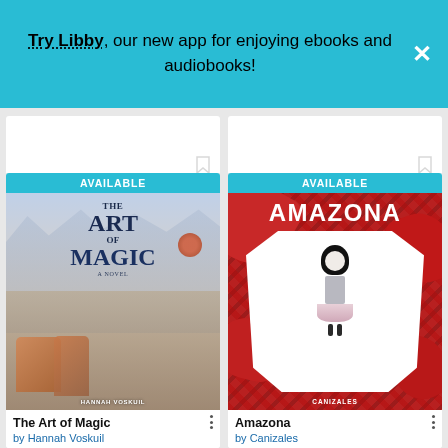Try Libby, our new app for enjoying ebooks and audiobooks!
[Figure (screenshot): Partially visible book cards at top of library app screen]
[Figure (illustration): Book cover: The Art of Magic - A Novel by Hannah Voskuil, fantasy illustration with characters]
The Art of Magic
[Figure (illustration): Book cover: Amazona by Canizales, graphic novel cover with red background and white silhouette of girl]
Amazona